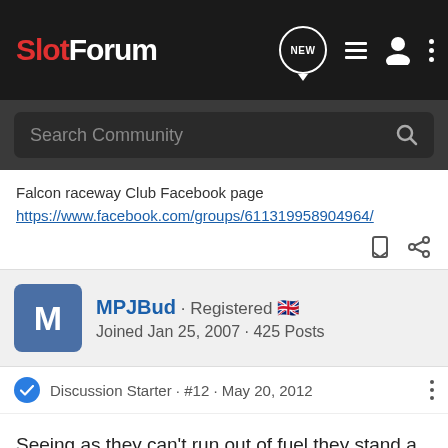SlotForum
Falcon raceway Club Facebook page
https://www.facebook.com/groups/611319958904964/
MPJBud · Registered 🇬🇧
Joined Jan 25, 2007 · 425 Posts
Discussion Starter · #12 · May 20, 2012
Seeing as they can't run out of fuel they stand a good chance.